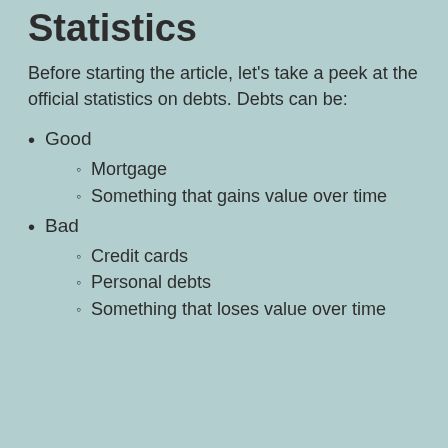Statistics
Before starting the article, let's take a peek at the official statistics on debts. Debts can be:
Good
Mortgage
Something that gains value over time
Bad
Credit cards
Personal debts
Something that loses value over time